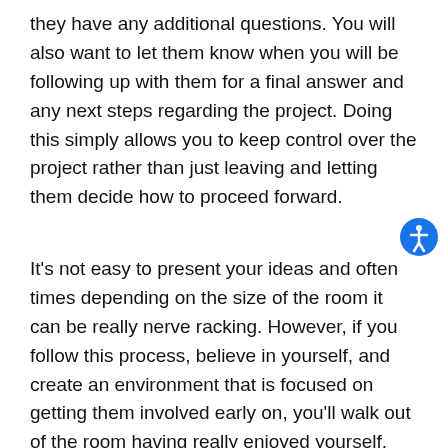they have any additional questions. You will also want to let them know when you will be following up with them for a final answer and any next steps regarding the project. Doing this simply allows you to keep control over the project rather than just leaving and letting them decide how to proceed forward.
It's not easy to present your ideas and often times depending on the size of the room it can be really nerve racking. However, if you follow this process, believe in yourself, and create an environment that is focused on getting them involved early on, you'll walk out of the room having really enjoyed yourself.